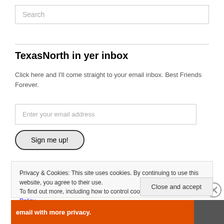Search
TexasNorth in yer inbox
Click here and I'll come straight to your email inbox. Best Friends Forever.
Enter your email address
Sign me up!
Privacy & Cookies: This site uses cookies. By continuing to use this website, you agree to their use.
To find out more, including how to control cookies, see here: Cookie Policy
Close and accept
email with more privacy.